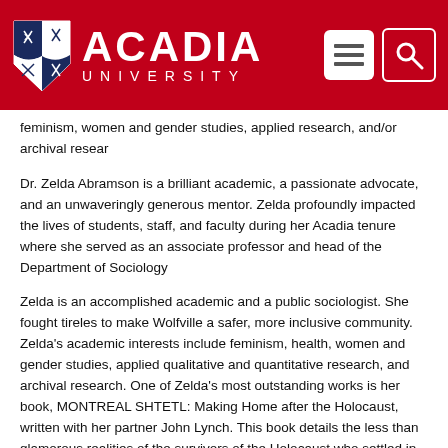[Figure (logo): Acadia University header with red background, shield logo on left, ACADIA UNIVERSITY text, and menu/search icons on right]
feminism, women and gender studies, applied research, and/or archival research
Dr. Zelda Abramson is a brilliant academic, a passionate advocate, and an unwaveringly generous mentor. Zelda profoundly impacted the lives of students, staff, and faculty during her Acadia tenure where she served as an associate professor and head of the Department of Sociology
Zelda is an accomplished academic and a public sociologist. She fought tirelessly to make Wolfville a safer, more inclusive community. Zelda's academic interests include feminism, health, women and gender studies, applied qualitative and quantitative research, and archival research. One of Zelda's most outstanding works is her book, MONTREAL SHTETL: Making Home after the Holocaust, written with her partner John Lynch. This book details the less than glamorous realities of the survivors of the Holocaust who settled in Montreal, a topic dear to Zelda as this is how she and her family arrived in Canada.
Zelda cared deeply about her students. She generously opened her office and home and was always available to give feedback or teach how to make fresh challah bread and hummus. Zelda's unwavering support shaped a generation of academics and advocates. Through this award, Zelda will be able to continue to support generations of Acadia students wherever life takes her. The profound impact Zelda had on the lives of the staff, students and faculty of Acadia can ne